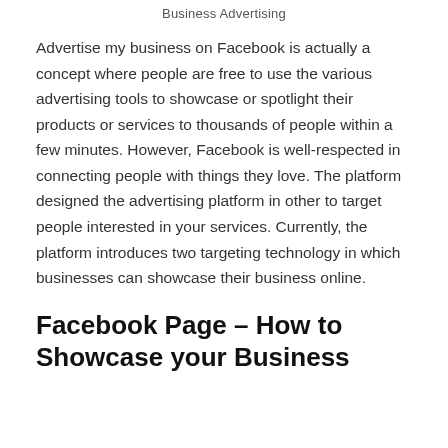Business Advertising
Advertise my business on Facebook is actually a concept where people are free to use the various advertising tools to showcase or spotlight their products or services to thousands of people within a few minutes. However, Facebook is well-respected in connecting people with things they love. The platform designed the advertising platform in other to target people interested in your services. Currently, the platform introduces two targeting technology in which businesses can showcase their business online.
Facebook Page – How to Showcase your Business